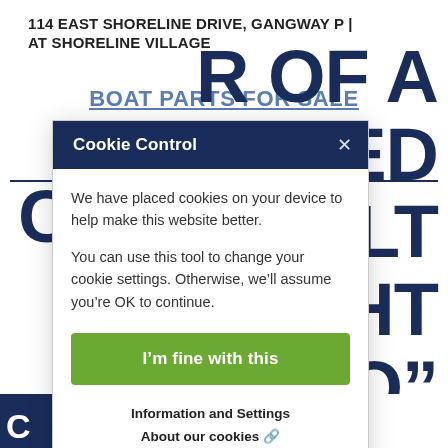114 EAST SHORELINE DRIVE, GANGWAY P | AT SHORELINE VILLAGE
BOAT PARTS FOR SALE
[Figure (screenshot): Cookie Control modal dialog overlaying a webpage. The modal has a dark blue header with 'Cookie Control' and an X close button. Body text reads: 'We have placed cookies on your device to help make this website better. You can use this tool to change your cookie settings. Otherwise, we'll assume you're OK to continue.' A green button reads 'I'm fine with this'. Below are links: 'Information and Settings' and 'About our cookies' with external link icon.]
R OF A IGNED UILT CHT ERZO”
(CLICK HERE FOR THREE-MINUTE